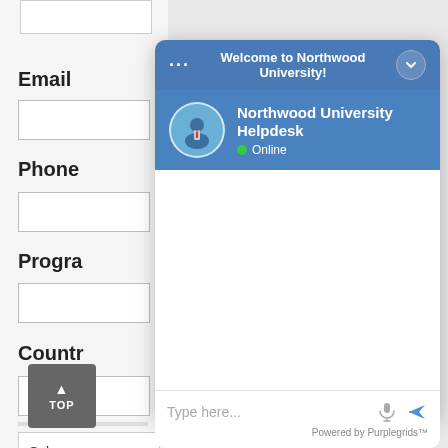Email
Phone
Program
Country
Submit
[Figure (screenshot): Chat widget overlay showing 'Welcome to Northwood University!' header, Northwood University Helpdesk agent avatar with Online status, empty chat body, and 'Type here...' input with microphone and send icons, powered by Purplegrids™]
TOP